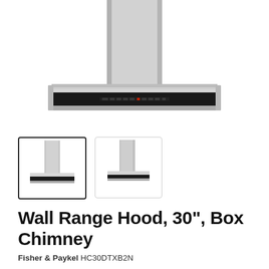[Figure (photo): Main large product photo of a stainless steel wall range hood with box chimney, showing the wide flat canopy with black glass front panel and controls, and a rectangular chimney stack rising above, on white background.]
[Figure (photo): Thumbnail 1 (selected/active border): smaller front-view of the same stainless steel wall range hood with box chimney.]
[Figure (photo): Thumbnail 2 (inactive border): smaller angled/side view of the same stainless steel wall range hood with box chimney.]
Wall Range Hood, 30", Box Chimney
Fisher & Paykel HC30DTXB2N